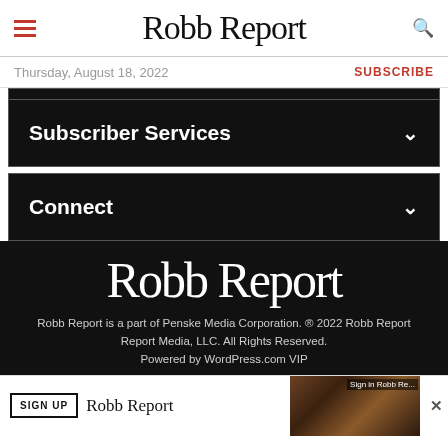Robb Report
Thursday, August 18, 2022
SUBSCRIBE
Subscriber Services
Connect
Robb Report
Robb Report is a part of Penske Media Corporation. © 2022 Robb Report Media, LLC. All Rights Reserved.
Powered by WordPress.com VIP
SIGN UP  Robb Report